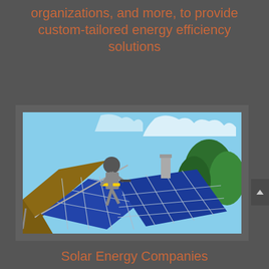organizations, and more, to provide custom-tailored energy efficiency solutions
[Figure (photo): A worker in safety gear installing solar panels on a residential rooftop. Blue solar panels are prominently shown with trees and sky in the background.]
Solar Energy Companies